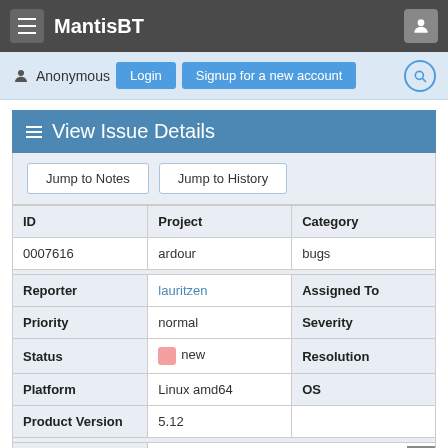MantisBT
Anonymous  Login  Signup for a new account
View Issue Details
| ID | Project | Category |
| --- | --- | --- |
| 0007616 | ardour | bugs |
| Reporter | lauritzen | Assigned To |
| Priority | normal | Severity |
| Status | new | Resolution |
| Platform | Linux amd64 | OS |
| Product Version | 5.12 |  |
| Summary | 0007616: Slow handling of markers |  |